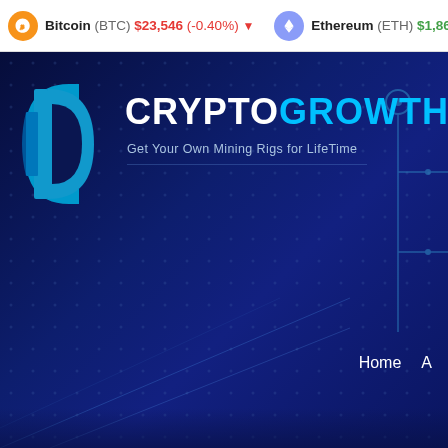Bitcoin (BTC) $23,546 (-0.40%) ▼   Ethereum (ETH) $1,869.
[Figure (screenshot): CryptoGrowth website header banner with dark navy blue background showing circuit board pattern, 'D' logo in cyan/blue, CRYPTOGROWTH brand name in white and cyan, tagline 'Get Your Own Mining Rigs for LifeTime', and navigation menu showing 'Home']
CRYPTOGROWTH
Get Your Own Mining Rigs for LifeTime
Home